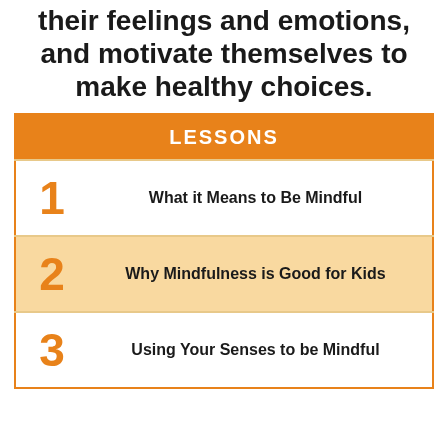their feelings and emotions, and motivate themselves to make healthy choices.
| LESSONS |
| --- |
| 1 | What it Means to Be Mindful |
| 2 | Why Mindfulness is Good for Kids |
| 3 | Using Your Senses to be Mindful |